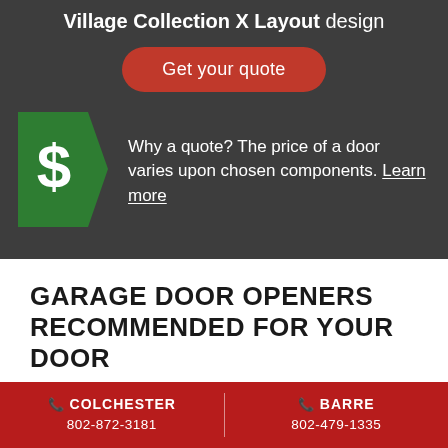Village Collection X Layout design
Get your quote
[Figure (illustration): Green pentagon/arrow shape with white dollar sign icon]
Why a quote? The price of a door varies upon chosen components. Learn more
GARAGE DOOR OPENERS RECOMMENDED FOR YOUR DOOR
[Figure (illustration): Partial red banner at bottom of white section]
COLCHESTER 802-872-3181 | BARRE 802-479-1335